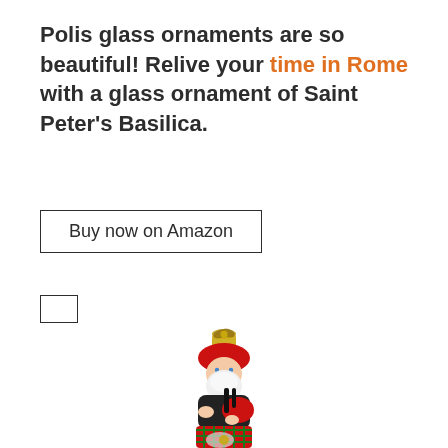Polis glass ornaments are so beautiful! Relive your time in Rome with a glass ornament of Saint Peter's Basilica.
Buy now on Amazon
[Figure (photo): A glass Christmas ornament shaped like a Santa Claus figure in Scottish Highland dress, wearing a red and green tartan kilt and playing bagpipes. The ornament has a gold hanging cap with decorative bow at top.]